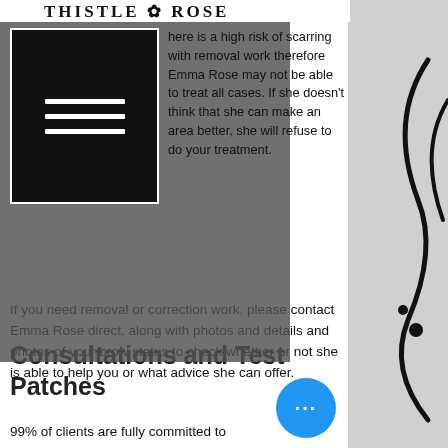THISTLE ROSE
There is a high risk of scarring with removal work therefore Emma Rose may not be able to treat all cases. If she doesn't think that she can make an area better, she will refuse to do your treatment.
If you need removal or correction work, please contact Emma Rose direct, along with photos and details and photos of your brow status to check whether or not she is able to help you or what advice she can offer.
Consultations and Test Patches
99% of clients are fully committed to